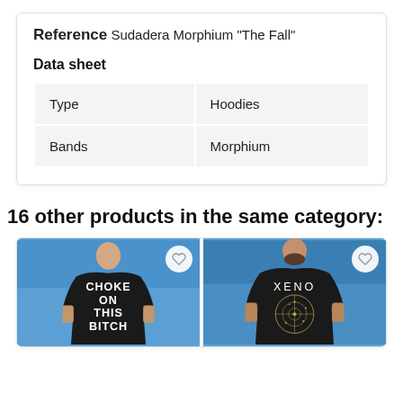Reference Sudadera Morphium "The Fall"
Data sheet
| Type | Hoodies |
| Bands | Morphium |
16 other products in the same category:
[Figure (photo): Two product photos side by side: left shows a black t-shirt with 'CHOKE ON THIS BITCH' text, right shows a black t-shirt with 'XENO' and a circular star chart design. Both worn by tattooed male models against a blue sky background. Each has a heart/wishlist button in the top right corner.]